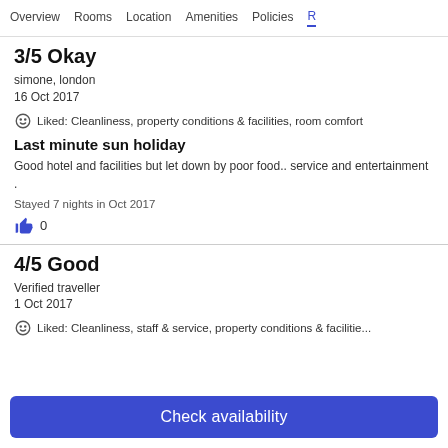Overview  Rooms  Location  Amenities  Policies  R
3/5 Okay
simone, london
16 Oct 2017
Liked: Cleanliness, property conditions & facilities, room comfort
Last minute sun holiday
Good hotel and facilities but let down by poor food.. service and entertainment .
Stayed 7 nights in Oct 2017
0
4/5 Good
Verified traveller
1 Oct 2017
Liked: Cleanliness, staff & service, property conditions & facilities